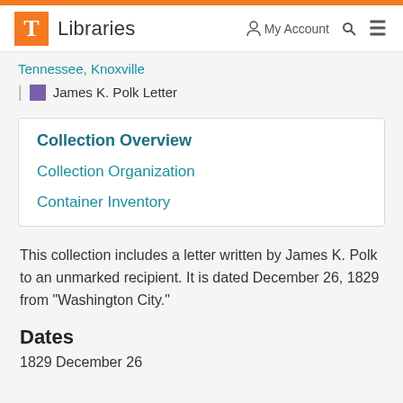T Libraries | My Account | Search | Menu
Tennessee, Knoxville
| James K. Polk Letter
Collection Overview
Collection Organization
Container Inventory
This collection includes a letter written by James K. Polk to an unmarked recipient. It is dated December 26, 1829 from "Washington City."
Dates
1829 December 26